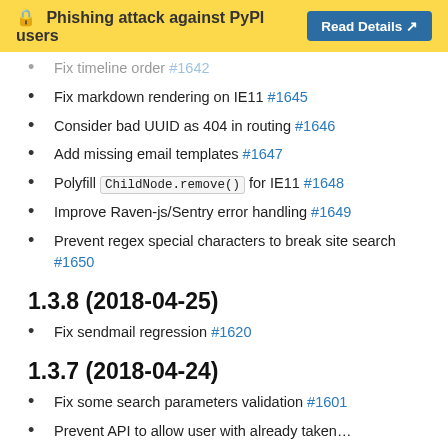🔒 Phishing attack against PyPI users  Read Details ↗
Fix timeline order #1642
Fix markdown rendering on IE11 #1645
Consider bad UUID as 404 in routing #1646
Add missing email templates #1647
Polyfill ChildNode.remove() for IE11 #1648
Improve Raven-js/Sentry error handling #1649
Prevent regex special characters to break site search #1650
1.3.8 (2018-04-25)
Fix sendmail regression #1620
1.3.7 (2018-04-24)
Fix some search parameters validation #1601
Prevent API to allow user with already taken …  #1600